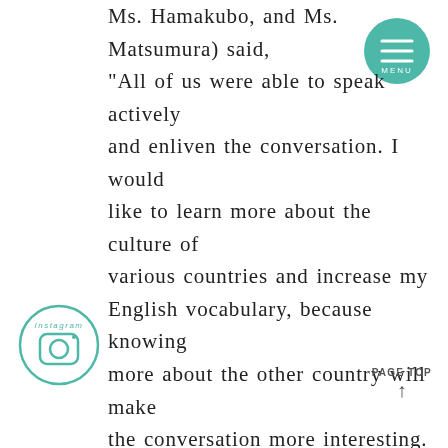Ms. Hamakubo, and Ms. Matsumura) said, “All of us were able to speak actively and enliven the conversation. I would like to learn more about the culture of various countries and increase my English vocabulary, because knowing more about the other country will make the conversation more interesting.
[Figure (logo): Teal circular menu button with three horizontal lines and the word MENU]
Their homeroom teacher, Ms. Miura, said, “As this is the third international exchange program since they entered school, all the students’ English presentations and group work in English have been improving. I am really looking
[Figure (logo): Instagram circular logo in teal outline style]
PAGE TOP ↑